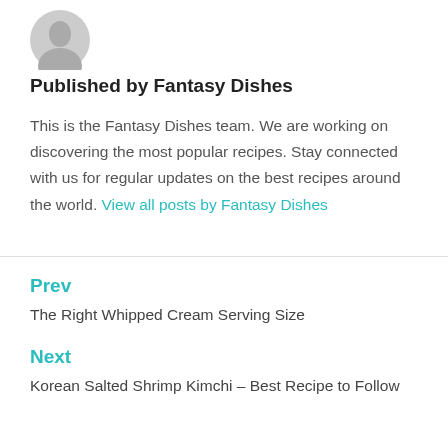[Figure (illustration): Gray circular avatar silhouette icon]
Published by Fantasy Dishes
This is the Fantasy Dishes team. We are working on discovering the most popular recipes. Stay connected with us for regular updates on the best recipes around the world. View all posts by Fantasy Dishes
Prev
The Right Whipped Cream Serving Size
Next
Korean Salted Shrimp Kimchi – Best Recipe to Follow